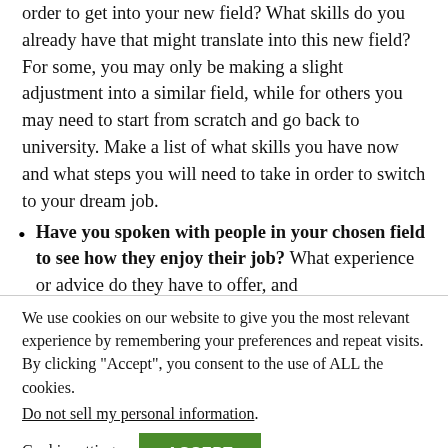order to get into your new field? What skills do you already have that might translate into this new field? For some, you may only be making a slight adjustment into a similar field, while for others you may need to start from scratch and go back to university. Make a list of what skills you have now and what steps you will need to take in order to switch to your dream job.
Have you spoken with people in your chosen field to see how they enjoy their job? What experience or advice do they have to offer, and
We use cookies on our website to give you the most relevant experience by remembering your preferences and repeat visits. By clicking “Accept”, you consent to the use of ALL the cookies.
Do not sell my personal information.
Cookie settings
ACCEPT